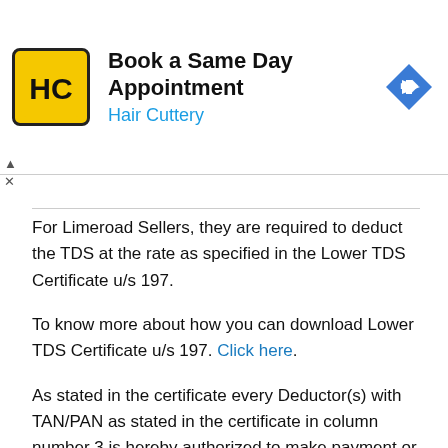[Figure (screenshot): Advertisement banner for Hair Cuttery: Book a Same Day Appointment, with logo and navigation arrow icon]
For Limeroad Sellers, they are required to deduct the TDS at the rate as specified in the Lower TDS Certificate u/s 197.
To know more about how you can download Lower TDS Certificate u/s 197. Click here.
As stated in the certificate every Deductor(s) with TAN/PAN as stated in the certificate in column number 3 is hereby authorized to make payment or credit the amount under section 194H (as mentioned in column number 5) to the extent i.e. up to the amount specified in the certificate (column number 7) after deducting the tax at the rate as mentioned under column number 8 i.e. 1%, excluding